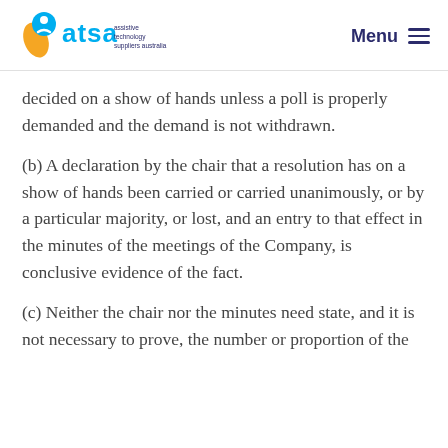ATSA - assistive technology suppliers australia | Menu
decided on a show of hands unless a poll is properly demanded and the demand is not withdrawn.
(b) A declaration by the chair that a resolution has on a show of hands been carried or carried unanimously, or by a particular majority, or lost, and an entry to that effect in the minutes of the meetings of the Company, is conclusive evidence of the fact.
(c) Neither the chair nor the minutes need state, and it is not necessary to prove, the number or proportion of the